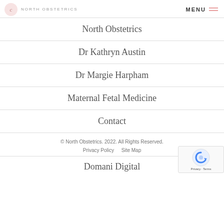North Obstetrics  MENU
North Obstetrics
Dr Kathryn Austin
Dr Margie Harpham
Maternal Fetal Medicine
Contact
© North Obstetrics. 2022. All Rights Reserved. Privacy Policy  Site Map
Domani Digital